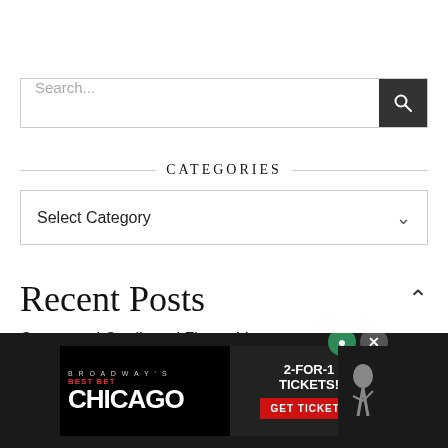Search...
CATEGORIES
Select Category
Recent Posts
Corrugated Cardboard Flower Vase
[Figure (screenshot): Broadway's Best Bet Chicago advertisement banner with 2-FOR-1 Tickets offer and GET TICKETS button]